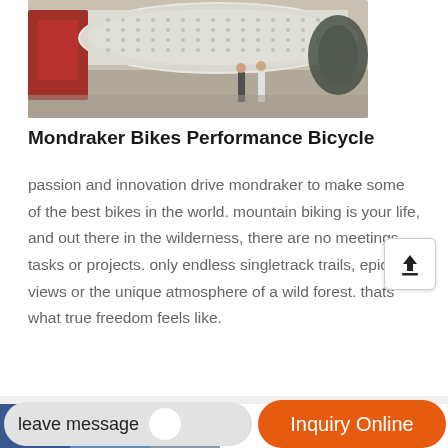[Figure (photo): Industrial machinery scene with large cylindrical equipment, workers standing nearby in an outdoor/warehouse setting]
Mondraker Bikes Performance Bicycle
passion and innovation drive mondraker to make some of the best bikes in the world. mountain biking is your life, and out there in the wilderness, there are no meetings, tasks or projects. only endless singletrack trails, epic views or the unique atmosphere of a wild forest. thats what true freedom feels like.
[Figure (photo): Partial view of another product listing photo at the bottom of the page]
leave message
Inquiry Online